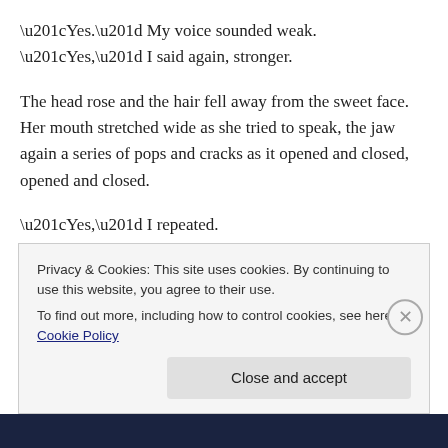“Yes.” My voice sounded weak. “Yes,” I said again, stronger.
The head rose and the hair fell away from the sweet face. Her mouth stretched wide as she tried to speak, the jaw again a series of pops and cracks as it opened and closed, opened and closed.
“Yes,” I repeated.
She stopped, trapped in midair, the jaw frozen in a silent scream as The Seer attempted to speak through her.
Privacy & Cookies: This site uses cookies. By continuing to use this website, you agree to their use.
To find out more, including how to control cookies, see here: Cookie Policy